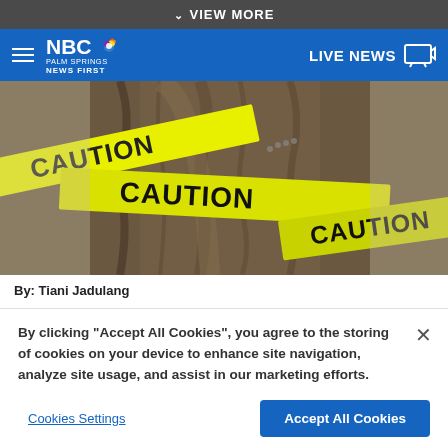VIEW MORE
NBC Palm Springs News First — LIVE NEWS
[Figure (photo): Yellow caution tape wrapped around a tree trunk, showing 'CAUTION' text repeated on the tape]
By: Tiani Jadulang
By clicking “Accept All Cookies”, you agree to the storing of cookies on your device to enhance site navigation, analyze site usage, and assist in our marketing efforts.
Cookies Settings
Accept All Cookies